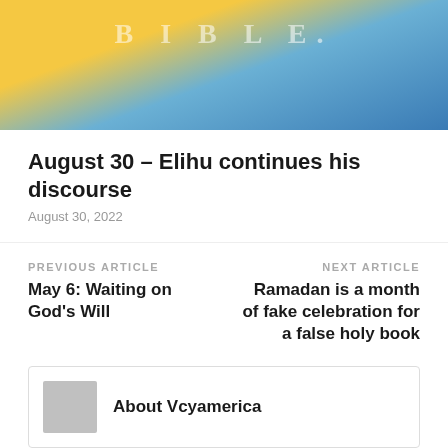[Figure (photo): Blurred close-up photo of a Bible with yellow and blue tones in the background]
August 30 – Elihu continues his discourse
August 30, 2022
PREVIOUS ARTICLE
May 6: Waiting on God's Will
NEXT ARTICLE
Ramadan is a month of fake celebration for a false holy book
About Vcyamerica